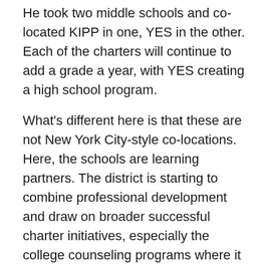He took two middle schools and co-located KIPP in one, YES in the other. Each of the charters will continue to add a grade a year, with YES creating a high school program.
What's different here is that these are not New York City-style co-locations. Here, the schools are learning partners. The district is starting to combine professional development and draw on broader successful charter initiatives, especially the college counseling programs where it is expected that each student will go to college, with exacting plans to make that happen. The superintendent also hired a top KIPP executive to be in charge of broader transformational change in the district.